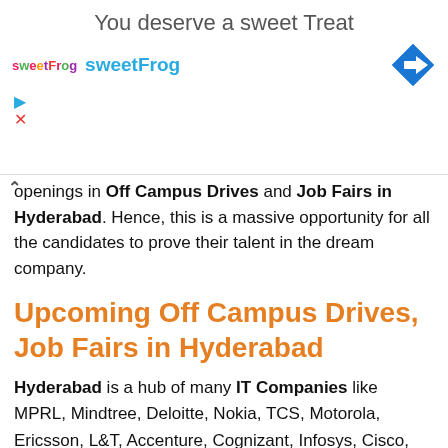[Figure (screenshot): Advertisement banner for sweetFrog with text 'You deserve a sweet Treat', sweetFrog logo, cyan 'sweetFrog' text, and a blue diamond navigation arrow icon]
openings in Off Campus Drives and Job Fairs in Hyderabad. Hence, this is a massive opportunity for all the candidates to prove their talent in the dream company.
Upcoming Off Campus Drives, Job Fairs in Hyderabad
Hyderabad is a hub of many IT Companies like MPRL, Mindtree, Deloitte, Nokia, TCS, Motorola, Ericsson, L&T, Accenture, Cognizant, Infosys, Cisco, Oracle, etc and many Start-Up Companies. So, we can see that the candidates would benefit with the end...